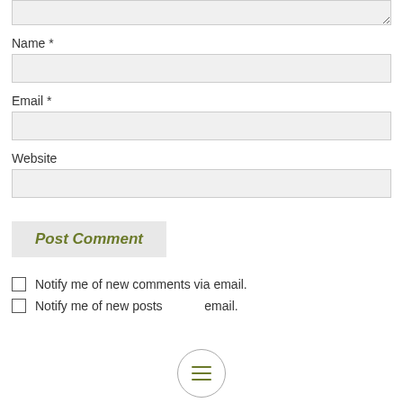[Figure (screenshot): Top portion of a textarea form input, partially visible at the top of the page with a resize handle in bottom-right corner]
Name *
[Figure (screenshot): Name text input field (empty, light gray background)]
Email *
[Figure (screenshot): Email text input field (empty, light gray background)]
Website
[Figure (screenshot): Website text input field (empty, light gray background)]
[Figure (screenshot): Post Comment button with olive/dark yellow bold italic text on light gray background]
Notify me of new comments via email.
Notify me of new posts via email.
[Figure (other): Circular menu button with three horizontal lines (hamburger icon) in olive/dark yellow color]